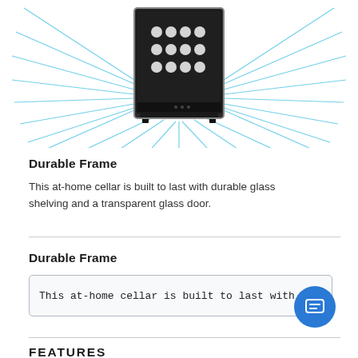[Figure (photo): Wine cooler/refrigerator with blue radiating lines emanating from the sides and bottom, displayed against a white background. The appliance is dark/black with a glass door showing wine bottles inside.]
Durable Frame
This at-home cellar is built to last with durable glass shelving and a transparent glass door.
Durable Frame
This at-home cellar is built to last with dur
FEATURES